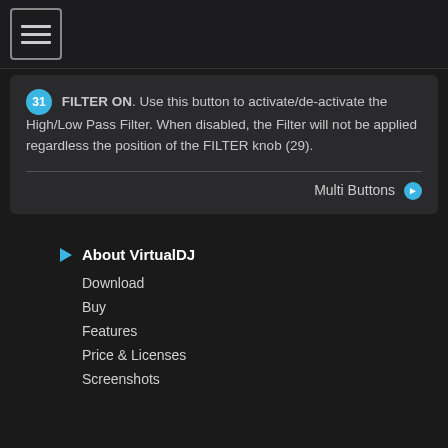Menu
31 FILTER ON. Use this button to activate/de-activate the High/Low Pass Filter. When disabled, the Filter will not be applied regardless the position of the FILTER knob (29).
Multi Buttons
About VirtualDJ
Download
Buy
Features
Price & Licenses
Screenshots